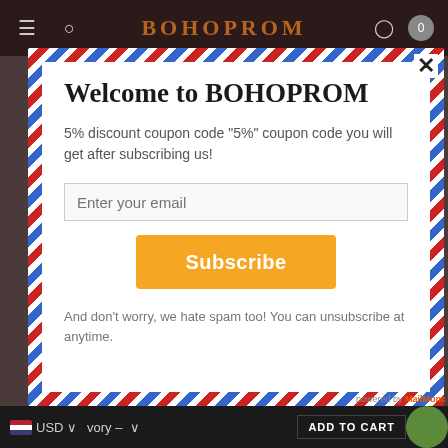BOHOPROM
Welcome to BOHOPROM
5% discount coupon code "5%" coupon code you will get after subscribing us!
Enter your email
Subscribe
And don't worry, we hate spam too! You can unsubscribe at anytime.
USD    vory -    ADD TO CART    powered by MailMunch